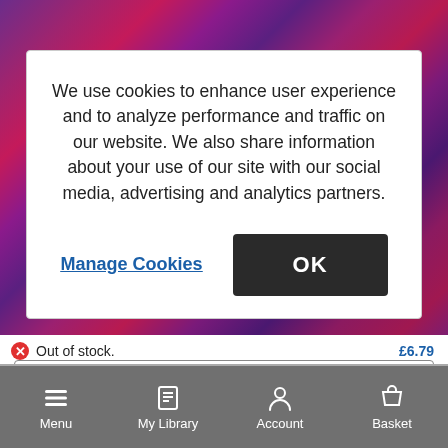[Figure (photo): Colorful yarn texture background in purple, red, and pink tones]
We use cookies to enhance user experience and to analyze performance and traffic on our website. We also share information about your use of our site with our social media, advertising and analytics partners.
Manage Cookies
OK
Out of stock.
£6.79
Notify me
Menu
My Library
Account
Basket